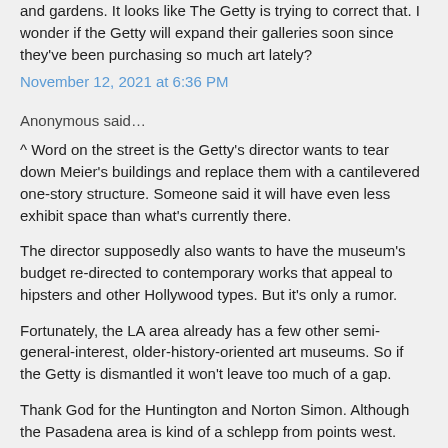and gardens. It looks like The Getty is trying to correct that. I wonder if the Getty will expand their galleries soon since they've been purchasing so much art lately?
November 12, 2021 at 6:36 PM
Anonymous said…
^ Word on the street is the Getty's director wants to tear down Meier's buildings and replace them with a cantilevered one-story structure. Someone said it will have even less exhibit space than what's currently there.
The director supposedly also wants to have the museum's budget re-directed to contemporary works that appeal to hipsters and other Hollywood types. But it's only a rumor.
Fortunately, the LA area already has a few other semi-general-interest, older-history-oriented art museums. So if the Getty is dismantled it won't leave too much of a gap.
Thank God for the Huntington and Norton Simon. Although the Pasadena area is kind of a schlepp from points west.